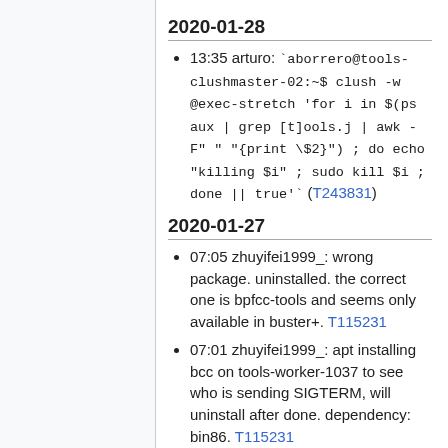2020-01-28
13:35 arturo: `aborrero@tools-clushmaster-02:~$ clush -w @exec-stretch 'for i in $(ps aux | grep [t]ools.j | awk -F" " "{print \$2}") ; do echo "killing $i" ; sudo kill $i ; done || true'` (T243831)
2020-01-27
07:05 zhuyifei1999_: wrong package. uninstalled. the correct one is bpfcc-tools and seems only available in buster+. T115231
07:01 zhuyifei1999_: apt installing bcc on tools-worker-1037 to see who is sending SIGTERM, will uninstall after done. dependency: bin86. T115231
2020-01-24